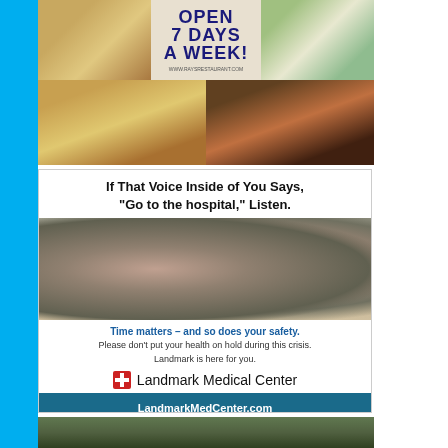[Figure (photo): Restaurant advertisement collage with food photos and text 'OPEN 7 DAYS A WEEK!' on beige background, website www.raysrestaurant.com]
[Figure (photo): Landmark Medical Center advertisement showing elderly couple, with headline 'If That Voice Inside of You Says, Go to the hospital, Listen.' Tagline: 'Time matters – and so does your safety. Please don't put your health on hold during this crisis. Landmark is here for you.' URL: LandmarkMedCenter.com]
[Figure (photo): Partial photo at bottom of page showing outdoor foliage/landscaping scene]